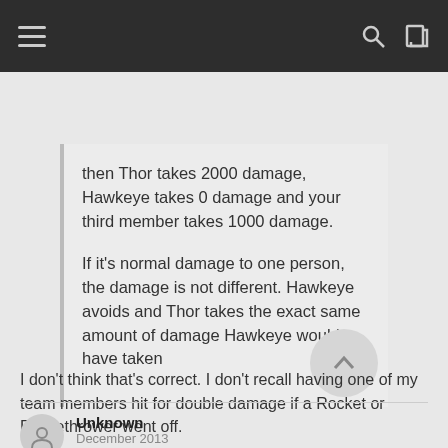Navigation bar with hamburger menu, search icon, and login icon
then Thor takes 2000 damage, Hawkeye takes 0 damage and your third member takes 1000 damage.

If it's normal damage to one person, the damage is not different. Hawkeye avoids and Thor takes the exact same amount of damage Hawkeye would have taken
I don't think that's correct. I don't recall having one of my team members hit for double damage if a Rocket or Flamethrower went off.
Unknown
December 2013